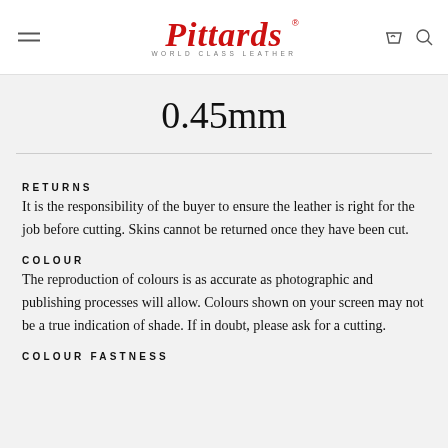[Figure (logo): Pittards World Class Leather logo in red italic script with subtitle]
0.45mm
RETURNS
It is the responsibility of the buyer to ensure the leather is right for the job before cutting. Skins cannot be returned once they have been cut.
COLOUR
The reproduction of colours is as accurate as photographic and publishing processes will allow. Colours shown on your screen may not be a true indication of shade. If in doubt, please ask for a cutting.
COLOUR FASTNESS